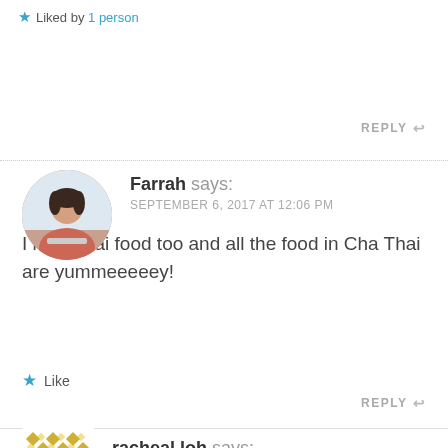Liked by 1 person
REPLY
Farrah says:
SEPTEMBER 6, 2017 AT 12:06 PM
I love Thai food too and all the food in Cha Thai are yummeeeeey!
Like
REPLY
racheal loh says: